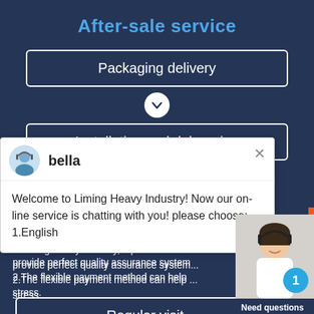After-sale service
Packaging delivery
Installation and debugging
[Figure (screenshot): Chat popup with avatar of 'bella' and message: Welcome to Liming Heavy Industry! Now our on-line service is chatting with you! please choose: 1.English]
Regular visit
[Figure (infographic): Customer service widget showing a woman with headset, badge number 1, 'Need questions & suggestion?' text, Chat Now button, and Enquire button]
1.Liming Heavy Industry, a professional manufacturer of mining equipment, make every effort to provide perfect quality assurance system
2.The flexible payment method can help you solve financial problems and reduce the purchasing stress.